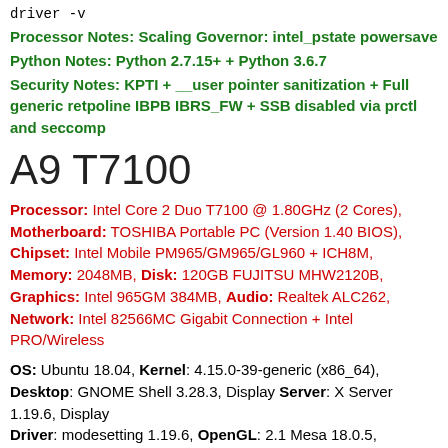driver -v
Processor Notes: Scaling Governor: intel_pstate powersave
Python Notes: Python 2.7.15+ + Python 3.6.7
Security Notes: KPTI + __user pointer sanitization + Full generic retpoline IBPB IBRS_FW + SSB disabled via prctl and seccomp
A9 T7100
Processor: Intel Core 2 Duo T7100 @ 1.80GHz (2 Cores), Motherboard: TOSHIBA Portable PC (Version 1.40 BIOS), Chipset: Intel Mobile PM965/GM965/GL960 + ICH8M, Memory: 2048MB, Disk: 120GB FUJITSU MHW2120B, Graphics: Intel 965GM 384MB, Audio: Realtek ALC262, Network: Intel 82566MC Gigabit Connection + Intel PRO/Wireless
OS: Ubuntu 18.04, Kernel: 4.15.0-39-generic (x86_64), Desktop: GNOME Shell 3.28.3, Display Server: X Server 1.19.6, Display Driver: modesetting 1.19.6, OpenGL: 2.1 Mesa 18.0.5, Compiler: GCC 7.3.0, File System: ext4, Screen Resolution: 1280x800